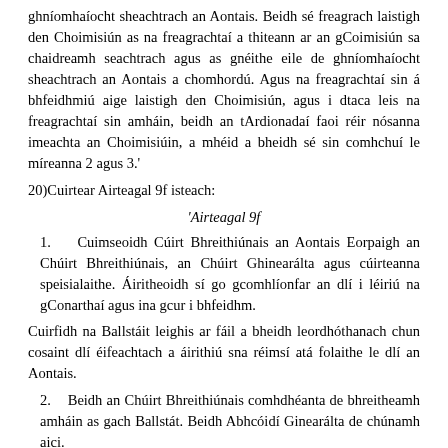ghníomhaíocht sheachtrach an Aontais. Beidh sé freagrach laistigh den Choimisiún as na freagrachtaí a thiteann ar an gCoimisiún sa chaidreamh seachtrach agus as gnéithe eile de ghníomhaíocht sheachtrach an Aontais a chomhordú. Agus na freagrachtaí sin á bhfeidhmiú aige laistigh den Choimisiún, agus i dtaca leis na freagrachtaí sin amháin, beidh an tArdionadaí faoi réir nósanna imeachta an Choimisiúin, a mhéid a bheidh sé sin comhchuí le míreanna 2 agus 3.'
20)Cuirtear Airteagal 9f isteach:
'Airteagal 9f
1.   Cuimseoidh Cúirt Bhreithiúnais an Aontais Eorpaigh an Chúirt Bhreithiúnais, an Chúirt Ghinearálta agus cúirteanna speisialaithe. Áiritheoidh sí go gcomhlíonfar an dlí i léiriú na gConarthaí agus ina gcur i bhfeidhm.
Cuirfidh na Ballstáit leighis ar fáil a bheidh leordhóthanach chun cosaint dlí éifeachtach a áirithiú sna réimsí atá folaithe le dlí an Aontais.
2.   Beidh an Chúirt Bhreithiúnais comhdhéanta de bhreitheamh amháin as gach Ballstát. Beidh Abhcóidí Ginearálta de chúnamh aici.
Beidh ar an gCúirt Ghinearálta breitheamh amháin ar a